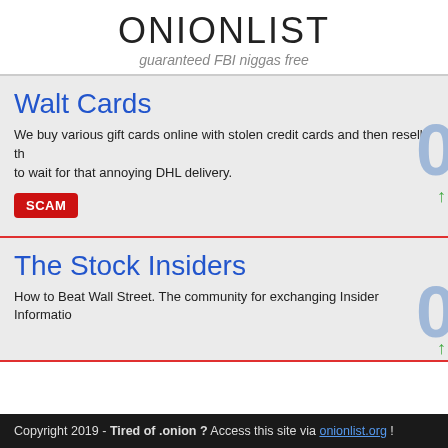ONIONLIST
guaranteed FBI niggas free
Walt Cards
We buy various gift cards online with stolen credit cards and then resell them to wait for that annoying DHL delivery.
SCAM
The Stock Insiders
How to Beat Wall Street. The community for exchanging Insider Information
Copyright 2019 - Tired of .onion ? Access this site via onionlist.org !